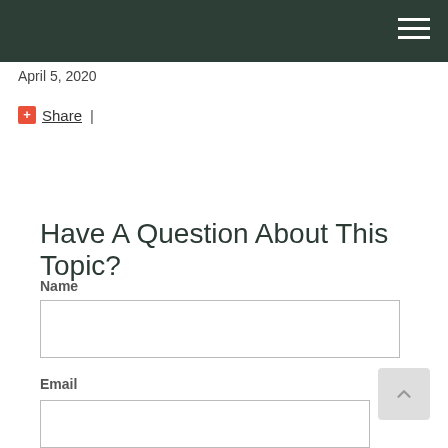April 5, 2020
Share |
Have A Question About This Topic?
Name
Email